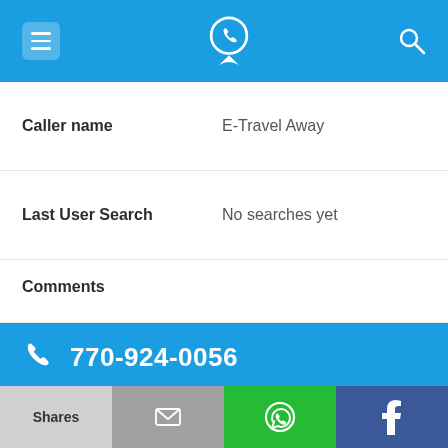[Figure (screenshot): Blue top navigation bar with hamburger menu icon, phone/location logo icon, and search icon]
Caller name: E-Travel Away
Last User Search: No searches yet
Comments
770-924-0056
Alternate Form: 7709240056
Caller name: Hispano Global
Last User Search: No searches yet
Shares | Email | WhatsApp | Facebook